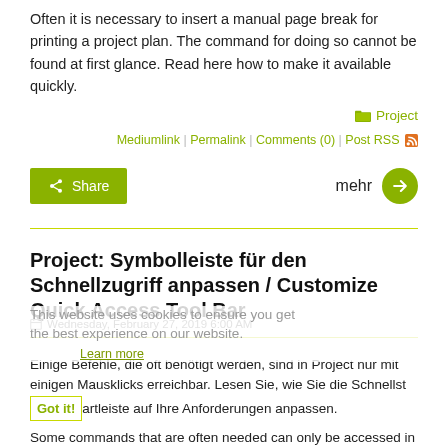Often it is necessary to insert a manual page break for printing a project plan. The command for doing so cannot be found at first glance. Read here how to make it available quickly.
Project
Mediumlink | Permalink | Comments (0) | Post RSS
Share
mehr
Project: Symbolleiste für den Schnellzugriff anpassen / Customize Quick Access Tool Bar
Wednesday, February 27, 2019 6:00 AM
This website uses cookies to ensure you get the best experience on our website.
Learn more
Got it!
Einige Befehle, die oft benötigt werden, sind in Project nur mit einigen Mausklicks erreichbar. Lesen Sie, wie Sie die Schnellstartleiste auf Ihre Anforderungen anpassen.
Some commands that are often needed can only be accessed in